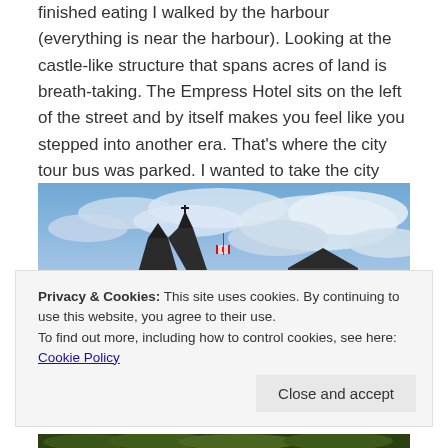finished eating I walked by the harbour (everything is near the harbour). Looking at the castle-like structure that spans acres of land is breath-taking. The Empress Hotel sits on the left of the street and by itself makes you feel like you stepped into another era. That's where the city tour bus was parked. I wanted to take the city tour, its just that now I was in the mood to walk, yes, in the rain.
[Figure (photo): Photo of the Empress Hotel or similar castle-like building with a Canadian flag visible, set against a dramatic cloudy blue sky]
Privacy & Cookies: This site uses cookies. By continuing to use this website, you agree to their use.
To find out more, including how to control cookies, see here: Cookie Policy
[Figure (photo): Partial view of a garden or landscape at the bottom of the page]